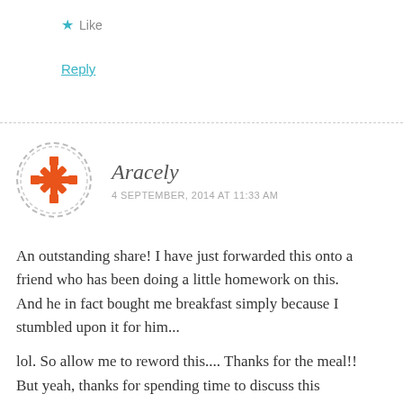★ Like
Reply
Aracely
4 SEPTEMBER, 2014 AT 11:33 AM
An outstanding share! I have just forwarded this onto a friend who has been doing a little homework on this.
And he in fact bought me breakfast simply because I stumbled upon it for him...
lol. So allow me to reword this.... Thanks for the meal!!
But yeah, thanks for spending time to discuss this